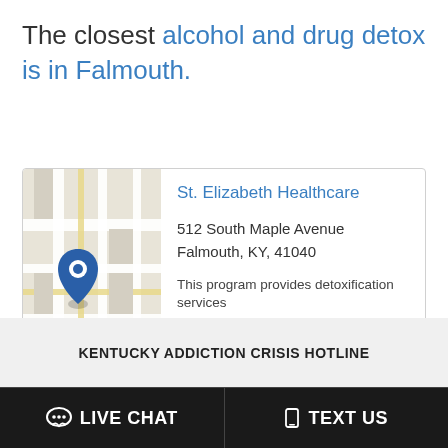The closest alcohol and drug detox is in Falmouth.
[Figure (map): Street map thumbnail with a blue location pin marker indicating St. Elizabeth Healthcare in Falmouth, KY.]
St. Elizabeth Healthcare
512 South Maple Avenue
Falmouth, KY, 41040
This program provides detoxification services
KENTUCKY ADDICTION CRISIS HOTLINE
LIVE CHAT
TEXT US